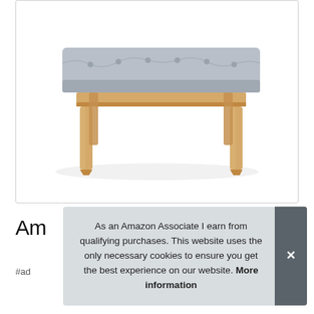[Figure (photo): A light grey tufted upholstered bench with natural wood legs, photographed on a white background inside a bordered product image box.]
Am
As an Amazon Associate I earn from qualifying purchases. This website uses the only necessary cookies to ensure you get the best experience on our website. More information
#ad